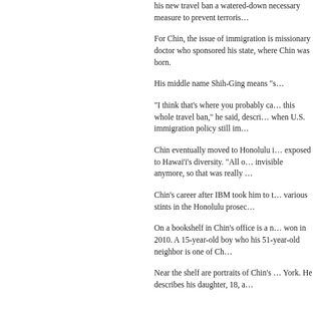his new travel ban a watered-down necessary measure to prevent terroris…
For Chin, the issue of immigration is missionary doctor who sponsored his state, where Chin was born.
His middle name Shih-Ging means "s…
"I think that's where you probably ca… this whole travel ban," he said, descri… when U.S. immigration policy still im…
Chin eventually moved to Honolulu i… exposed to Hawai'i's diversity. "All o… invisible anymore, so that was really …
Chin's career after IBM took him to t… various stints in the Honolulu prosec…
On a bookshelf in Chin's office is a n… won in 2010. A 15-year-old boy who his 51-year-old neighbor is one of Ch…
Near the shelf are portraits of Chin's … York. He describes his daughter, 18, a…